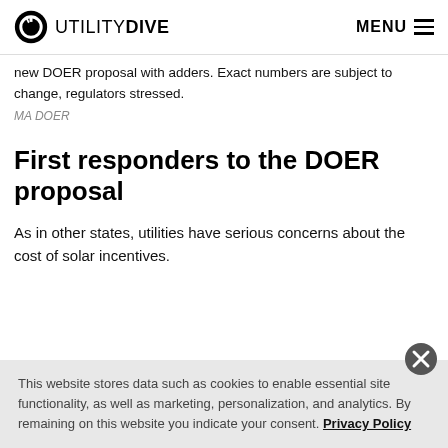UTILITY DIVE  MENU
new DOER proposal with adders. Exact numbers are subject to change, regulators stressed.
MA DOER
First responders to the DOER proposal
As in other states, utilities have serious concerns about the cost of solar incentives.
This website stores data such as cookies to enable essential site functionality, as well as marketing, personalization, and analytics. By remaining on this website you indicate your consent. Privacy Policy